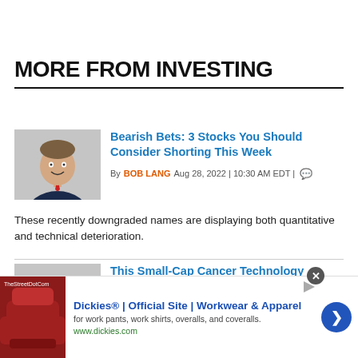MORE FROM INVESTING
[Figure (photo): Headshot of Bob Lang, man in suit with red tie on gray background]
Bearish Bets: 3 Stocks You Should Consider Shorting This Week
By BOB LANG  Aug 28, 2022  |  10:30 AM EDT  |  [comment icon]
These recently downgraded names are displaying both quantitative and technical deterioration.
[Figure (photo): Headshot of a man in dark jacket on gray background]
This Small-Cap Cancer Technology Company Could Pop With the Right Play
[Figure (photo): Advertisement image showing a red leather chair — Dickies workwear ad]
Dickies® | Official Site | Workwear & Apparel
for work pants, work shirts, overalls, and coveralls.
www.dickies.com